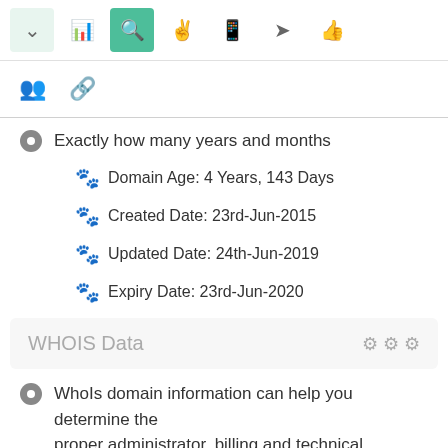[Figure (screenshot): Toolbar with navigation icons: up arrow (light green bg), bar chart, search (green bg active), hand pointer, mobile, paper airplane, thumbs up]
[Figure (screenshot): Second toolbar row with group/people icon and chain link icon]
Exactly how many years and months
Domain Age: 4 Years, 143 Days
Created Date: 23rd-Jun-2015
Updated Date: 24th-Jun-2019
Expiry Date: 23rd-Jun-2020
WHOIS Data
WhoIs domain information can help you determine the proper administrator, billing and technical